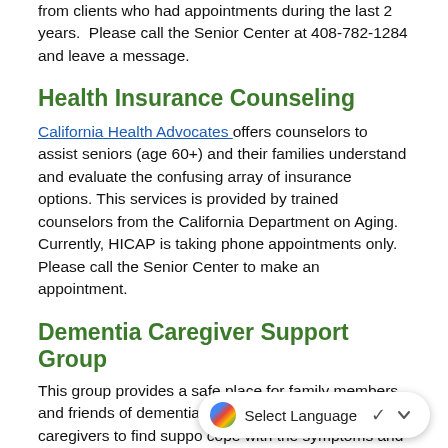from clients who had appointments during the last 2 years.  Please call the Senior Center at 408-782-1284 and leave a message.
Health Insurance Counseling
California Health Advocates offers counselors to assist seniors (age 60+) and their families understand and evaluate the confusing array of insurance options. This services is provided by trained counselors from the California Department on Aging.  Currently, HICAP is taking phone appointments only. Please call the Senior Center to make an appointment.
Dementia Caregiver Support Group
This group provides a safe place for family members and friends of dementia patients.  It will enable caregivers to find suppo... cope with the symptoms and life changes